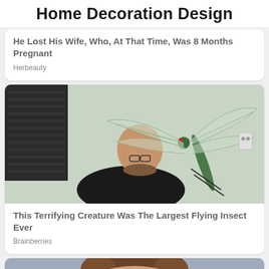Home Decoration Design
He Lost His Wife, Who, At That Time, Was 8 Months Pregnant
Herbeauty
[Figure (photo): Man smiling and holding a large model or prop dragonfly indoors]
This Terrifying Creature Was The Largest Flying Insect Ever
Brainberries
[Figure (photo): Partial photo of a person's face with brown hair, cropped at bottom of page]